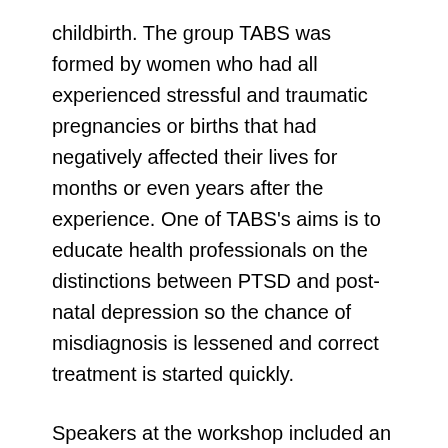childbirth. The group TABS was formed by women who had all experienced stressful and traumatic pregnancies or births that had negatively affected their lives for months or even years after the experience. One of TABS's aims is to educate health professionals on the distinctions between PTSD and post-natal depression so the chance of misdiagnosis is lessened and correct treatment is started quickly.
Speakers at the workshop included an international nursing researcher from the United States, Cheryl Beck. A number of New Zealand women have shared their stories of PTSD with Beck and have found telling their stories and having someone understand and believe them has been very therapeutic. Other speakers included TABS member Phillida Bunkle and Auckland